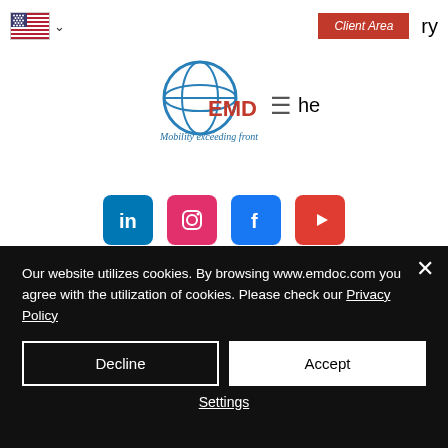[Figure (screenshot): US flag icon with dropdown chevron in top navigation bar]
[Figure (logo): EMDOC logo with globe icon and tagline 'Mobility exceeding frontiers']
[Figure (infographic): Social media icons row: LinkedIn, Instagram, Facebook, YouTube]
Ordinance No. 660 of November 27th, 2021 is revoked.
Our website utilizes cookies. By browsing www.emdoc.com you agree with the utilization of cookies. Please check our Privacy Policy
Decline
Accept
Settings